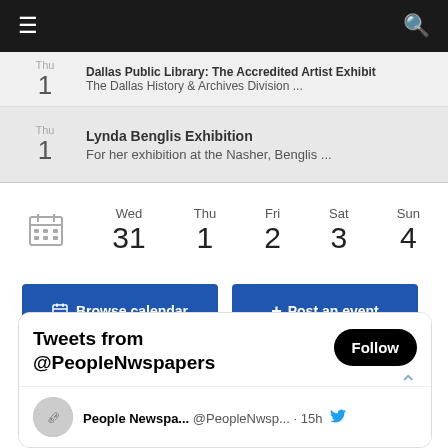Navigation bar with hamburger menu and search icon
Thu 1 — Dallas Public Library: The Accredited Artist Exhibit
The Dallas History & Archives Division ...
Thu 1 — Lynda Benglis Exhibition
For her exhibition at the Nasher, Benglis ...
[Figure (other): Weekly calendar navigation showing Wed 31, Thu 1, Fri 2, Sat 3, Sun 4 with a calendar icon]
Browse calendar | + Post an event
Tweets from @PeopleNwspapers
People Newspa... @PeopleNwsp... · 15h